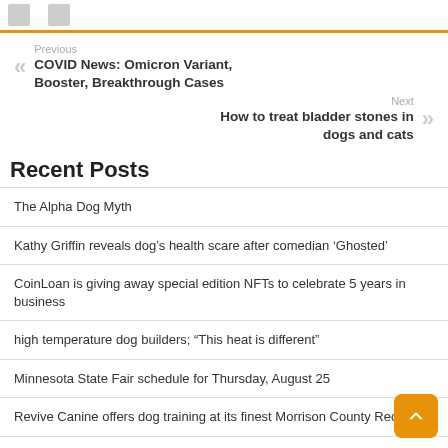Previous
COVID News: Omicron Variant, Booster, Breakthrough Cases
Next
How to treat bladder stones in dogs and cats
Recent Posts
The Alpha Dog Myth
Kathy Griffin reveals dog’s health scare after comedian ‘Ghosted’
CoinLoan is giving away special edition NFTs to celebrate 5 years in business
high temperature dog builders; “This heat is different”
Minnesota State Fair schedule for Thursday, August 25
Revive Canine offers dog training at its finest Morrison County Record